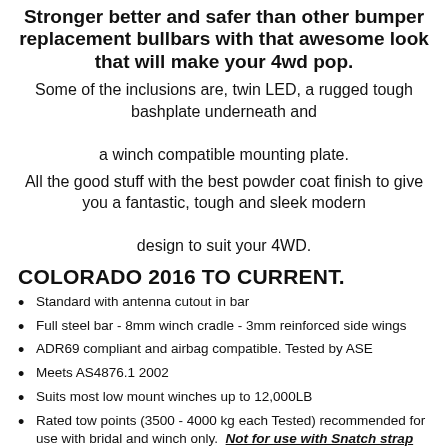Stronger better and safer than other bumper replacement bullbars with that awesome look that will make your 4wd pop.
Some of the inclusions are, twin LED, a rugged tough bashplate underneath and a winch compatible mounting plate.
All the good stuff with the best powder coat finish to give you a fantastic, tough and sleek modern design to suit your 4WD.
COLORADO 2016 TO CURRENT.
Standard with antenna cutout in bar
Full steel bar - 8mm winch cradle - 3mm reinforced side wings
ADR69 compliant and airbag compatible. Tested by ASE
Meets AS4876.1 2002
Suits most low mount winches up to 12,000LB
Rated tow points (3500 - 4000 kg each Tested) recommended for use with bridal and winch only. Not for use with Snatch strap